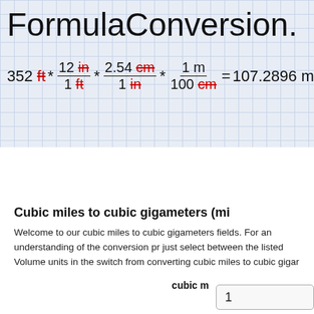FormulaConversion.
[Figure (math-figure): Formula showing unit conversion: 352 ft * (12 in / 1 ft) * (2.54 cm / 1 in) * (1 m / 100 cm) = 107.2896 m, with canceled units shown in red strikethrough]
Home | FAQ | Latest | Profiles (1171) | Forum (39) | Metric Conversion | Currency Converter | GPA Calc
Cubic miles to cubic gigameters (mi
Welcome to our cubic miles to cubic gigameters fields. For an understanding of the conversion pr just select between the listed Volume units in the switch from converting cubic miles to cubic gigar
cubic m
1